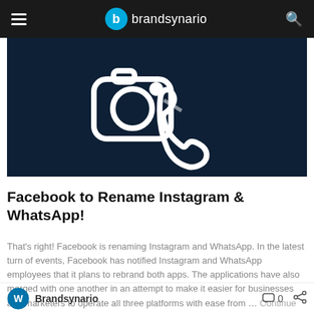brandsynario
[Figure (illustration): Dark navy background with white line-art icons of Instagram camera and WhatsApp phone logos merged/overlapping]
Facebook to Rename Instagram & WhatsApp!
That's right! Facebook is renaming Instagram and WhatsApp. In the latest turn of events, Facebook has notified Instagram and WhatsApp employees that it plans to rebrand both apps. The applications have also merged with one another in an attempt to make it easier for businesses and marketers to operate all three platforms with ease from … Continue reading
Brandsynario  0